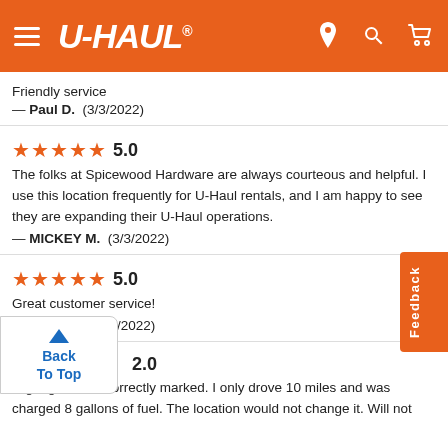U-HAUL navigation header
Friendly service
— Paul D.  (3/3/2022)
★★★★★ 5.0
The folks at Spicewood Hardware are always courteous and helpful. I use this location frequently for U-Haul rentals, and I am happy to see they are expanding their U-Haul operations.
— MICKEY M.  (3/3/2022)
★★★★★ 5.0
Great customer service!
— Hilda E.  (2/21/2022)
Back To Top
2.0
...gauge was incorrectly marked. I only drove 10 miles and was charged 8 gallons of fuel. The location would not change it. Will not
Feedback